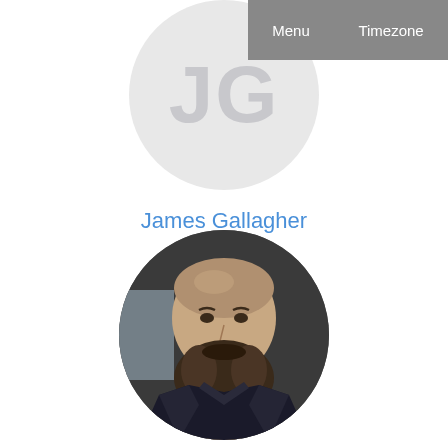Menu   Timezone
[Figure (illustration): Circular avatar placeholder with initials JG in light gray]
James Gallagher
OPeNDAP
Contractor
[Figure (photo): Circular profile photo of a bearded man wearing a dark jacket]
Luan Fonseca Garcia
UFRGS